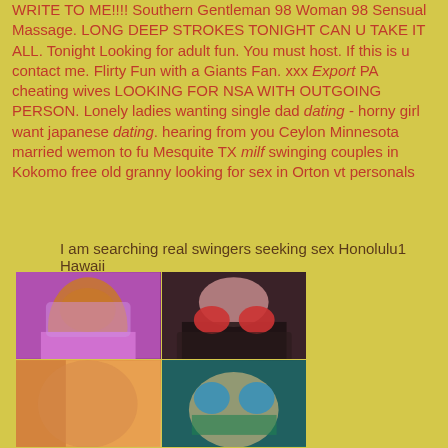WRITE TO ME!!!! Southern Gentleman 98 Woman 98 Sensual Massage. LONG DEEP STROKES TONIGHT CAN U TAKE IT ALL. Tonight Looking for adult fun. You must host. If this is u contact me. Flirty Fun with a Giants Fan. xxx Export PA cheating wives LOOKING FOR NSA WITH OUTGOING PERSON. Lonely ladies wanting single dad dating - horny girl want japanese dating. hearing from you Ceylon Minnesota married wemon to fu Mesquite TX milf swinging couples in Kokomo free old granny looking for sex in Orton vt personals
I am searching real swingers seeking sex Honolulu1 Hawaii
[Figure (photo): A 2x2 collage of four photos showing partial views of women in various states of undress]